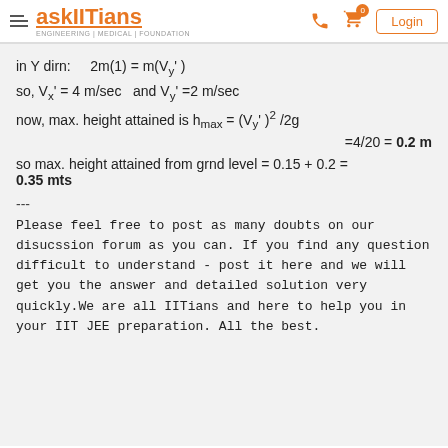askIITians - ENGINEERING | MEDICAL | FOUNDATION
---
Please feel free to post as many doubts on our disucssion forum as you can. If you find any question difficult to understand - post it here and we will get you the answer and detailed solution very quickly.We are all IITians and here to help you in your IIT JEE preparation. All the best.